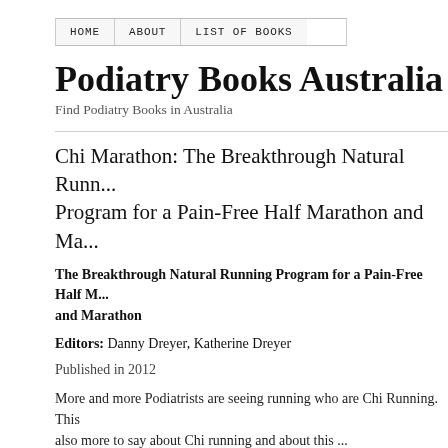HOME   ABOUT   LIST OF BOOKS
Podiatry Books Australia
Find Podiatry Books in Australia
Chi Marathon: The Breakthrough Natural Running Program for a Pain-Free Half Marathon and Marathon
The Breakthrough Natural Running Program for a Pain-Free Half Marathon and Marathon
Editors: Danny Dreyer, Katherine Dreyer
Published in 2012
More and more Podiatrists are seeing running who are Chi Running. This also more to say about Chi running and about this ...